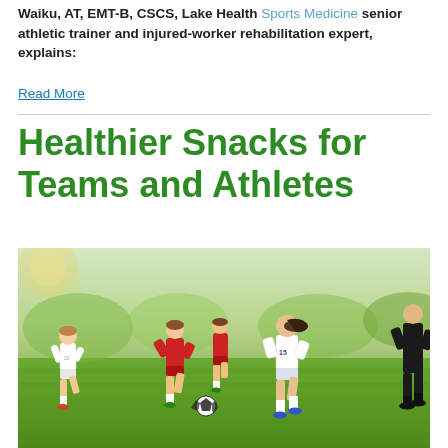Waiku, AT, EMT-B, CSCS, Lake Health Sports Medicine senior athletic trainer and injured-worker rehabilitation expert, explains:
Read More
Healthier Snacks for Teams and Athletes
[Figure (photo): Youth soccer players in action on a grass field. Children in white and red uniforms chasing a soccer ball, with a referee in black visible on the right edge.]